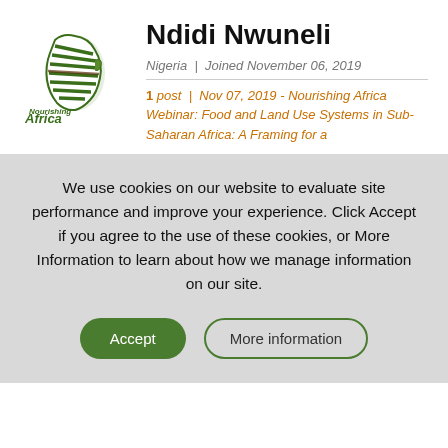[Figure (logo): Nourishing Africa logo with map of Africa and text 'nourishingafrica.com']
Ndidi Nwuneli
Nigeria | Joined November 06, 2019
1 post | Nov 07, 2019 - Nourishing Africa Webinar: Food and Land Use Systems in Sub-Saharan Africa: A Framing for a
We use cookies on our website to evaluate site performance and improve your experience. Click Accept if you agree to the use of these cookies, or More Information to learn about how we manage information on our site.